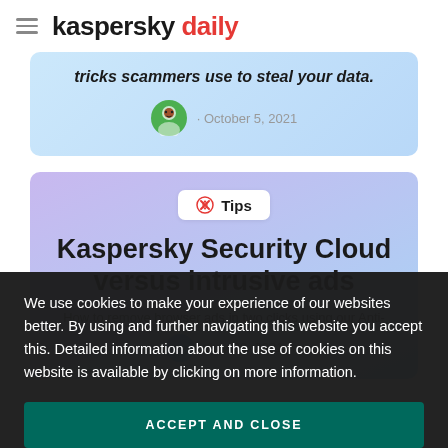kaspersky daily
tricks scammers use to steal your data.
October 5, 2021
Tips
Kaspersky Security Cloud versus intrusive ads
How to remove browser ads in two clicks using our Anti-
July 28, 2021
We use cookies to make your experience of our websites better. By using and further navigating this website you accept this. Detailed information about the use of cookies on this website is available by clicking on more information.
ACCEPT AND CLOSE